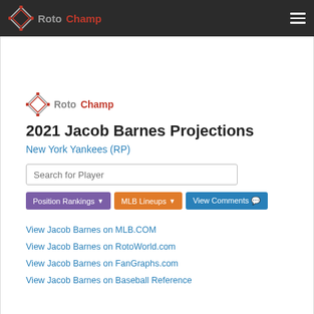RotoChamp
[Figure (logo): RotoChamp diamond logo with Roto in gray and Champ in red]
2021 Jacob Barnes Projections
New York Yankees (RP)
Search for Player
Position Rankings
MLB Lineups
View Comments
View Jacob Barnes on MLB.COM
View Jacob Barnes on RotoWorld.com
View Jacob Barnes on FanGraphs.com
View Jacob Barnes on Baseball Reference